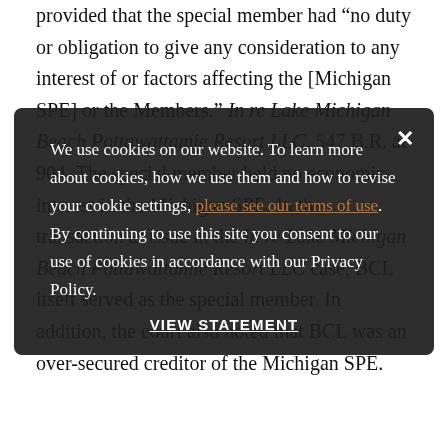provided that the special member had “no duty or obligation to give any consideration to any interest of or factors affecting the [Michigan SPE] or the Members.” In re Lake Michigan Beach Pottawattamie Resort LLC, 547 B.R. at 904. The special member held no economic interest in the Michigan SPE. In the transaction at issue in the In re Lake Michigan Beach Pottawattamie Resort LLC case, BCL itself served as the special member. In addition, the court also noted that BCL was an over-secured creditor of the Michigan SPE.
We use cookies on our website. To learn more about cookies, how we use them and how to revise your cookie settings, please see our terms of use. By continuing to use this site you consent to our use of cookies in accordance with our Privacy Policy.
VIEW STATEMENT